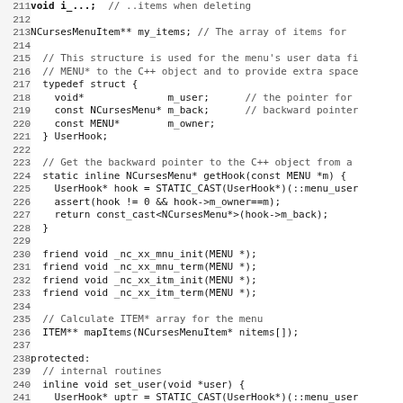[Figure (screenshot): Source code listing in monospace font showing C++ class definition lines 211-243, including NCursesMenuItem, UserHook struct, getHook static inline function, friend declarations, mapItems, protected section, set_user inline function.]